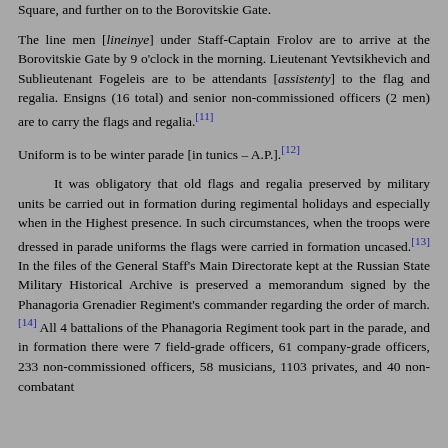Square, and further on to the Borovitskie Gate.
The line men [lineinye] under Staff-Captain Frolov are to arrive at the Borovitskie Gate by 9 o'clock in the morning. Lieutenant Yevtsikhevich and Sublieutenant Fogeleis are to be attendants [assistenty] to the flag and regalia. Ensigns (16 total) and senior non-commissioned officers (2 men) are to carry the flags and regalia.[11]
Uniform is to be winter parade [in tunics – A.P.].[12]
It was obligatory that old flags and regalia preserved by military units be carried out in formation during regimental holidays and especially when in the Highest presence. In such circumstances, when the troops were dressed in parade uniforms the flags were carried in formation uncased.[13] In the files of the General Staff's Main Directorate kept at the Russian State Military Historical Archive is preserved a memorandum signed by the Phanagoria Grenadier Regiment's commander regarding the order of march.[14] All 4 battalions of the Phanagoria Regiment took part in the parade, and in formation there were 7 field-grade officers, 61 company-grade officers, 233 non-commissioned officers, 58 musicians, 1103 privates, and 40 non-combatant